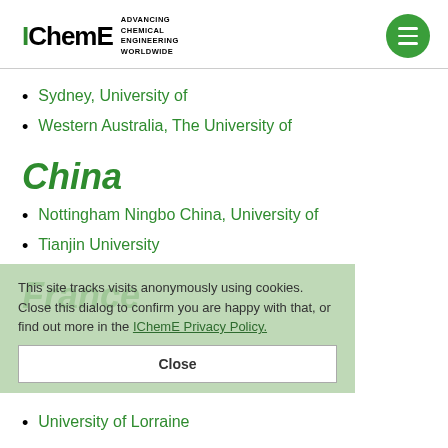IChemE ADVANCING CHEMICAL ENGINEERING WORLDWIDE
Sydney, University of
Western Australia, The University of
China
Nottingham Ningbo China, University of
Tianjin University
France
This site tracks visits anonymously using cookies. Close this dialog to confirm you are happy with that, or find out more in the IChemE Privacy Policy.
University of Lorraine
Greece